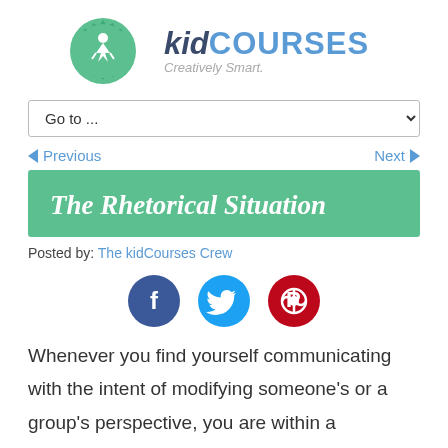[Figure (logo): kidCourses logo with green badge icon and text 'kidCOURSES Creatively Smart.']
[Figure (screenshot): Navigation dropdown selector showing 'Go to ...']
◄ Previous   Next ►
The Rhetorical Situation
Posted by: The kidCourses Crew
[Figure (illustration): Social media icons: Facebook (blue), Twitter (light blue), Pinterest (red)]
Whenever you find yourself communicating with the intent of modifying someone's or a group's perspective, you are within a